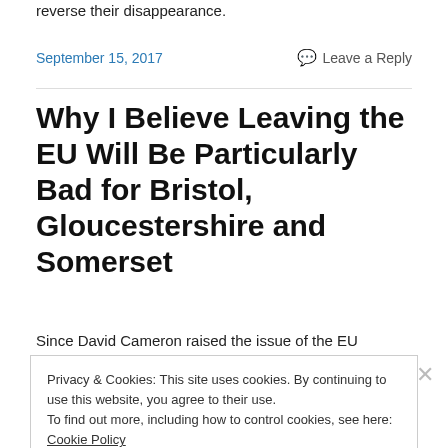reverse their disappearance.
September 15, 2017
Leave a Reply
Why I Believe Leaving the EU Will Be Particularly Bad for Bristol, Gloucestershire and Somerset
Since David Cameron raised the issue of the EU
Privacy & Cookies: This site uses cookies. By continuing to use this website, you agree to their use.
To find out more, including how to control cookies, see here: Cookie Policy
Close and accept